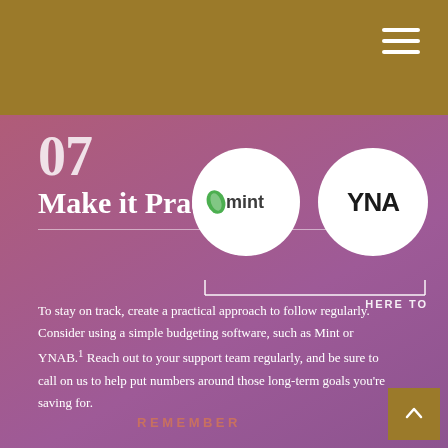Navigation bar with hamburger menu
07
Make it Practical
To stay on track, create a practical approach to follow regularly. Consider using a simple budgeting software, such as Mint or YNAB.¹ Reach out to your support team regularly, and be sure to call on us to help put numbers around those long-term goals you’re saving for.
[Figure (logo): Mint logo (green leaf with 'mint' text) in white circle]
[Figure (logo): YNAB logo in white circle (partially visible)]
HERE TO
REMEMBER